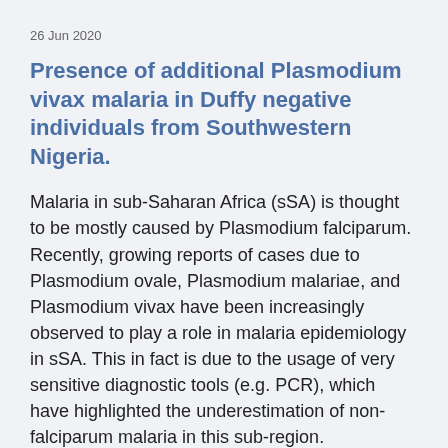26 Jun 2020
Presence of additional Plasmodium vivax malaria in Duffy negative individuals from Southwestern Nigeria.
Malaria in sub-Saharan Africa (sSA) is thought to be mostly caused by Plasmodium falciparum. Recently, growing reports of cases due to Plasmodium ovale, Plasmodium malariae, and Plasmodium vivax have been increasingly observed to play a role in malaria epidemiology in sSA. This in fact is due to the usage of very sensitive diagnostic tools (e.g. PCR), which have highlighted the underestimation of non-falciparum malaria in this sub-region. Plasmodium vivax was historically thought to be absent in sSA due to